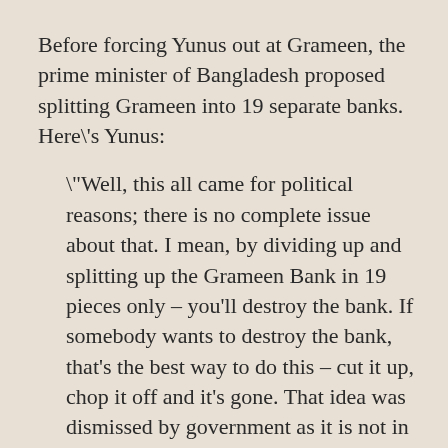Before forcing Yunus out at Grameen, the prime minister of Bangladesh proposed splitting Grameen into 19 separate banks. Here's Yunus:
"Well, this all came for political reasons; there is no complete issue about that. I mean, by dividing up and splitting up the Grameen Bank in 19 pieces only – you'll destroy the bank. If somebody wants to destroy the bank, that's the best way to do this – cut it up, chop it off and it's gone. That idea was dismissed by government as it is not in favor of chopping it off, they would rather do something else. But in